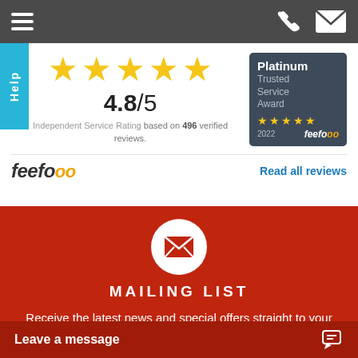Navigation bar with hamburger menu, phone icon, and mail icon
[Figure (infographic): Five gold stars rating display]
4.8/5
Independent Service Rating based on 496 verified reviews.
[Figure (logo): Platinum Trusted Service Award 2022 feefo badge with 5 stars]
[Figure (logo): feefo logo]
Read all reviews
MAILING LIST
Receive the latest news and special offers straight to your mailbox.
Leave a message